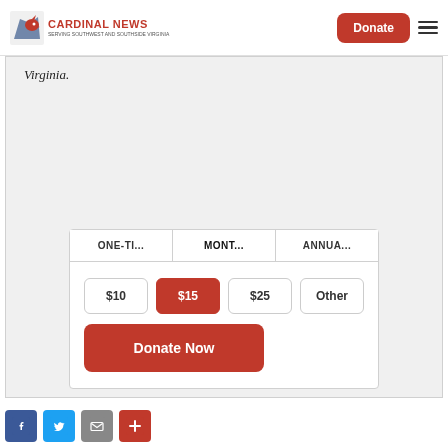Cardinal News — Donate button and hamburger menu
Virginia.
| ONE-TI... | MONT... | ANNUA... |
| --- | --- | --- |
$10  $15  $25  Other
Donate Now
[Figure (other): Social share icons: Facebook, Twitter, Email, Share]